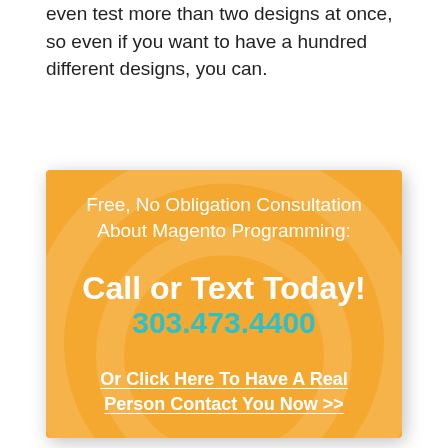even test more than two designs at once, so even if you want to have a hundred different designs, you can.
[Figure (infographic): Orange advertisement box with watermark circle pattern. Contains text: 'Free, No Obligation Consultation About Magento Programming:' followed by 'Call or Text Today!' in white bold, phone number '303.473.4400' in teal, and link text 'Or Click Here To Have A Real Person Contact You Now >>' in white underlined.]